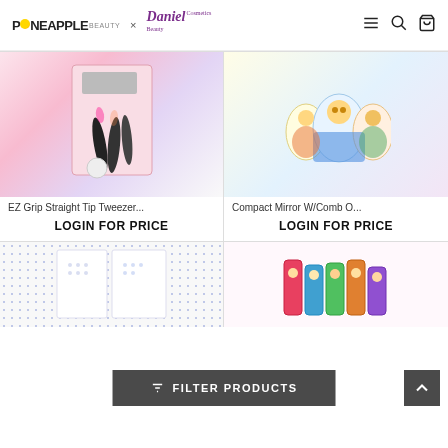PINEAPPLE BEAUTY × Daniel Cosmetics Beauty
[Figure (photo): EZ Grip Straight Tip Tweezers product image with pink and dark packaging showing multiple tweezers]
EZ Grip Straight Tip Tweezer...
LOGIN FOR PRICE
[Figure (photo): Compact Mirror W/Comb product image showing cute bear character compact mirrors]
Compact Mirror W/Comb O...
LOGIN FOR PRICE
[Figure (photo): Bottom left product with dotted/pattern design packaging]
[Figure (photo): Bottom right product with colorful character illustrations on bottles]